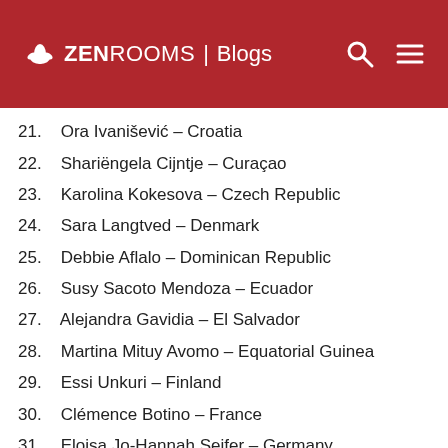ZEN ROOMS | Blogs
21. Ora Ivanišević – Croatia
22. Shariëngela Cijntje – Curaçao
23. Karolina Kokesova – Czech Republic
24. Sara Langtved – Denmark
25. Debbie Aflalo – Dominican Republic
26. Susy Sacoto Mendoza – Ecuador
27. Alejandra Gavidia – El Salvador
28. Martina Mituy Avomo – Equatorial Guinea
29. Essi Unkuri – Finland
30. Clémence Botino – France
31. Eloisa Jo-Hannah Seifer – Germany
32. Silvia Naa Morkor Commodore – Ghana
33. Emma Collingridge – Great Britain
34. Sofia Arapogianni – Greece